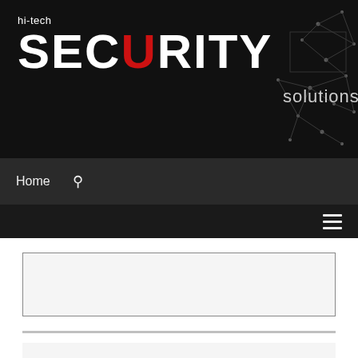[Figure (logo): hi-tech SECURITY solutions logo on black background with network graph pattern in top right corner]
Home  🔍
≡
What just happened?